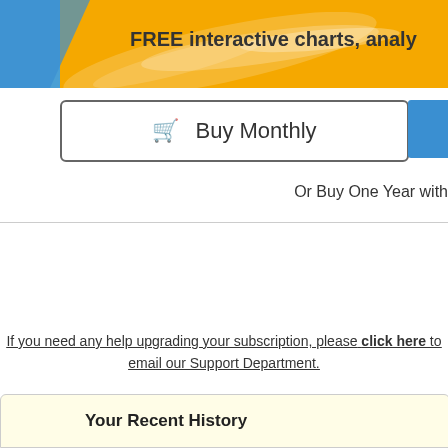[Figure (illustration): Banner with blue and golden/yellow gradient background with white swirl pattern and text 'FREE interactive charts, analy...']
FREE interactive charts, analy
Buy Monthly
Or Buy One Year with
If you need any help upgrading your subscription, please click here to email our Support Department.
Your Recent History